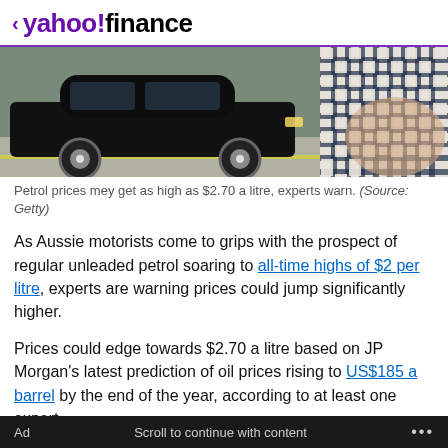< yahoo!finance
[Figure (photo): A black SUV/car parked, with chrome alloy wheels visible. Right side shows a hand holding a navy blue and white checkered fabric pattern.]
Petrol prices mey get as high as $2.70 a litre, experts warn. (Source: Getty)
As Aussie motorists come to grips with the prospect of regular unleaded petrol soaring to all-time highs of $2 per litre, experts are warning prices could jump significantly higher.
Prices could edge towards $2.70 a litre based on JP Morgan's latest prediction of oil prices rising to US$185 a barrel by the end of the year, according to at least one expert.
Ad   Scroll to continue with content   ...